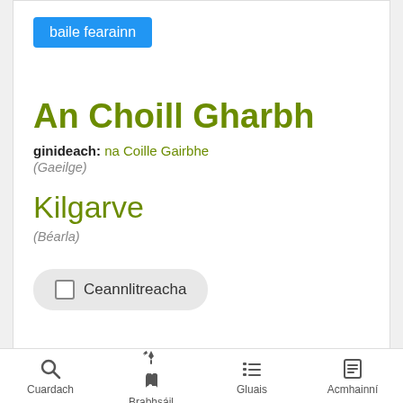baile fearainn
An Choill Gharbh
ginideach: na Coille Gairbhe
(Gaeilge)
Kilgarve
(Béarla)
Ceannlitreacha
Cuardach  Brabhsáil  Gluais  Acmhainní